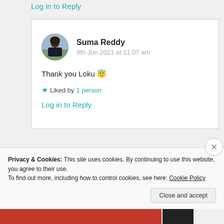Log in to Reply
Suma Reddy
9th Jun 2021 at 11:07 am
Thank you Loku 😇
★ Liked by 1 person
Log in to Reply
Privacy & Cookies: This site uses cookies. By continuing to use this website, you agree to their use.
To find out more, including how to control cookies, see here: Cookie Policy
Close and accept